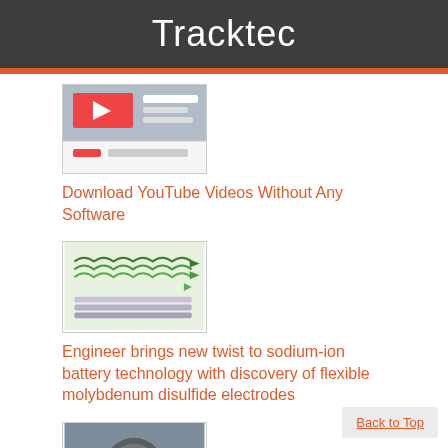Tracktec
[Figure (screenshot): Thumbnail image of a YouTube video download interface]
Download YouTube Videos Without Any Software
[Figure (photo): Scientific illustration of flexible molybdenum disulfide electrode layers with arrows indicating layered flexible structure]
Engineer brings new twist to sodium-ion battery technology with discovery of flexible molybdenum disulfide electrodes
[Figure (photo): Photo of an electric vehicle charging plug/port]
Back to Top